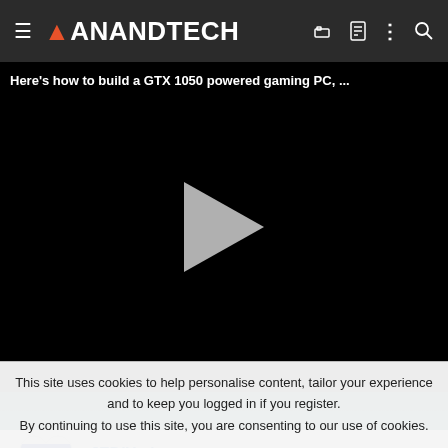AnandTech navigation bar
[Figure (screenshot): Video player showing black screen with play button and title 'Here's how to build a GTX 1050 powered gaming PC, ...']
JEDIYoda
Lifer
This site uses cookies to help personalise content, tailor your experience and to keep you logged in if you register.
By continuing to use this site, you are consenting to our use of cookies.